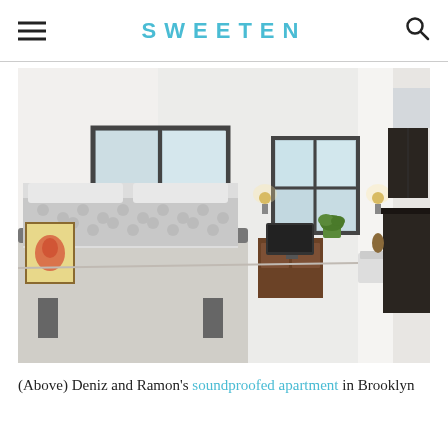SWEETEN
[Figure (photo): Interior photo of a modern soundproofed apartment bedroom in Brooklyn, showing a bed with grey and white dotted bedding, light wood floors, large dark-framed windows, white walls, wall sconces, and a view into an open living area and kitchen with dark cabinetry.]
(Above) Deniz and Ramon's soundproofed apartment in Brooklyn